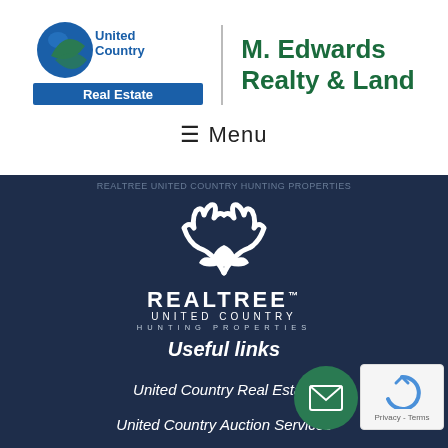[Figure (logo): United Country Real Estate logo with blue/green globe icon and text]
M. Edwards Realty & Land
☰ Menu
[Figure (logo): Realtree United Country Hunting Properties white antler logo on dark navy background]
Useful links
United Country Real Estate
United Country Auction Services
UC Ranch Properties
Join our team